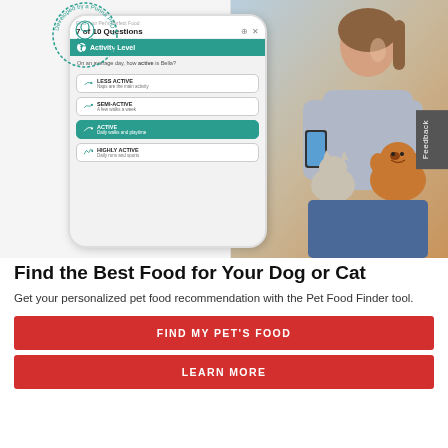[Figure (photo): Hero image showing a phone mockup with a Pet Food Finder quiz (7 of 10 Questions, Activity Level question with options Less Active, Semi-Active, Active selected, Highly Active) alongside a photo of a smiling woman holding a smartphone with a cat and a Pomeranian dog beside her. A circular badge reads 'Developed by a Purina PhD Nutritionist'. A vertical 'Feedback' tab is on the right edge.]
Find the Best Food for Your Dog or Cat
Get your personalized pet food recommendation with the Pet Food Finder tool.
FIND MY PET'S FOOD
LEARN MORE